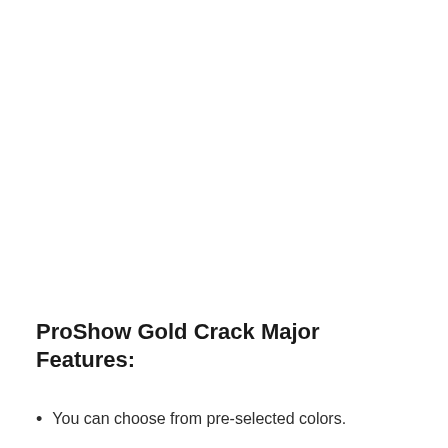ProShow Gold Crack Major Features:
You can choose from pre-selected colors.